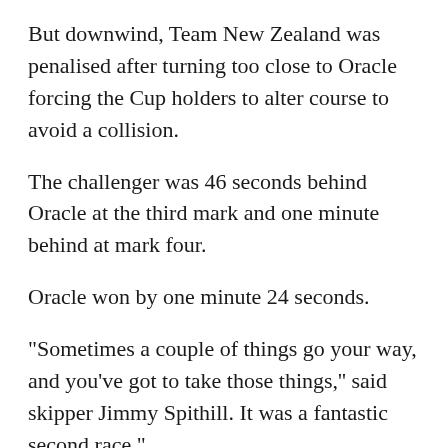But downwind, Team New Zealand was penalised after turning too close to Oracle forcing the Cup holders to alter course to avoid a collision.
The challenger was 46 seconds behind Oracle at the third mark and one minute behind at mark four.
Oracle won by one minute 24 seconds.
"Sometimes a couple of things go your way, and you've got to take those things,'' said skipper Jimmy Spithill. It was a fantastic second race."
Team New Zealand earlier lost a race against the clock in light winds in San Francisco Bay before the race time limit was reached in race 13.
Afterwards, Team New Zealand skipper Dean Barker was philosophical: